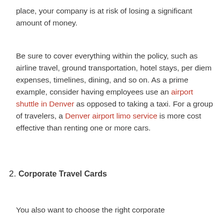place, your company is at risk of losing a significant amount of money.
Be sure to cover everything within the policy, such as airline travel, ground transportation, hotel stays, per diem expenses, timelines, dining, and so on. As a prime example, consider having employees use an airport shuttle in Denver as opposed to taking a taxi. For a group of travelers, a Denver airport limo service is more cost effective than renting one or more cars.
2. Corporate Travel Cards
You also want to choose the right corporate